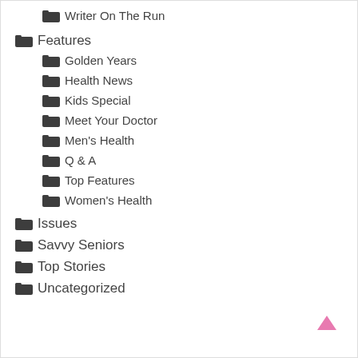Writer On The Run
Features
Golden Years
Health News
Kids Special
Meet Your Doctor
Men's Health
Q & A
Top Features
Women's Health
Issues
Savvy Seniors
Top Stories
Uncategorized